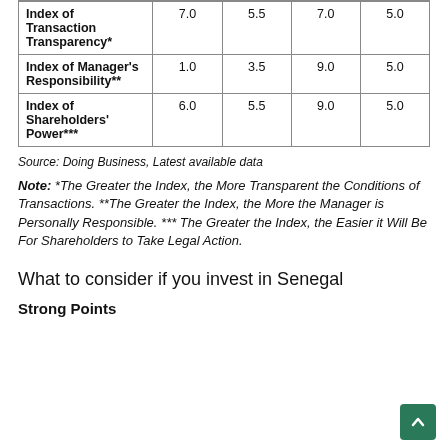| Index of Transaction Transparency* | 7.0 | 5.5 | 7.0 | 5.0 |
| Index of Manager's Responsibility** | 1.0 | 3.5 | 9.0 | 5.0 |
| Index of Shareholders' Power*** | 6.0 | 5.5 | 9.0 | 5.0 |
Source: Doing Business, Latest available data
Note: *The Greater the Index, the More Transparent the Conditions of Transactions. **The Greater the Index, the More the Manager is Personally Responsible. *** The Greater the Index, the Easier it Will Be For Shareholders to Take Legal Action.
What to consider if you invest in Senegal
Strong Points